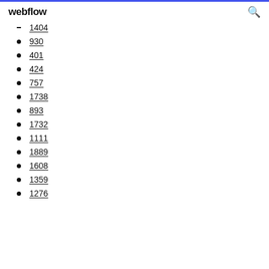webflow
1404
930
401
424
757
1738
893
1732
1111
1889
1608
1359
1276